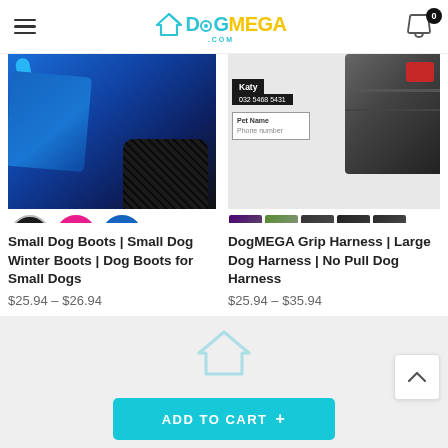DogMEGA.com
[Figure (photo): Small dog boots product image showing blue boots with black grip sole and three circular thumbnails: black, pink, and blue colorways]
Small Dog Boots | Small Dog Winter Boots | Dog Boots for Small Dogs
$25.94 – $26.94
[Figure (photo): DogMEGA Grip Harness product image showing harness with ID tag labeled Katy 032 5468 5431 and Pet Name / Phone number fields, with multiple color thumbnail variants]
DogMEGA Grip Harness | Large Dog Harness | No Pull Dog Harness
$25.94 – $35.94
[Figure (logo): DogMEGA partial logo visible in footer area]
ADD TO CART +